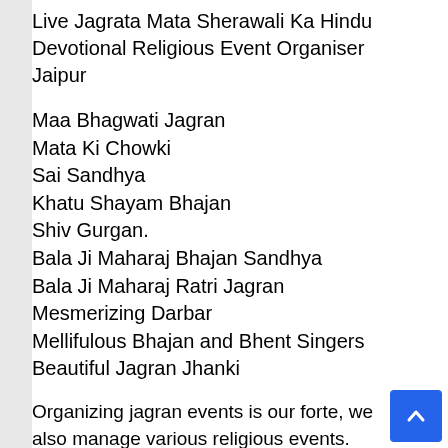Live Jagrata Mata Sherawali Ka Hindu Devotional Religious Event Organiser Jaipur
Maa Bhagwati Jagran
Mata Ki Chowki
Sai Sandhya
Khatu Shayam Bhajan
Shiv Gurgan.
Bala Ji Maharaj Bhajan Sandhya
Bala Ji Maharaj Ratri Jagran
Mesmerizing Darbar
Mellifulous Bhajan and Bhent Singers
Beautiful Jagran Jhanki
Organizing jagran events is our forte, we also manage various religious events.
We offer Mata jagran services to everyone and according to their budget.